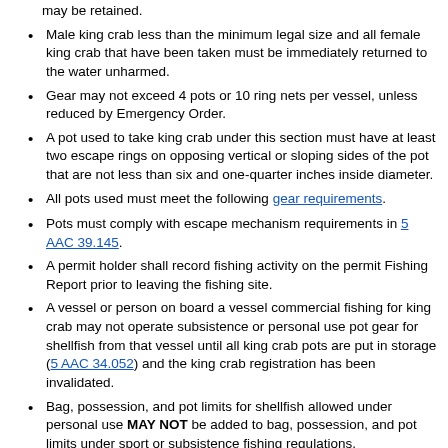may be retained.
Male king crab less than the minimum legal size and all female king crab that have been taken must be immediately returned to the water unharmed.
Gear may not exceed 4 pots or 10 ring nets per vessel, unless reduced by Emergency Order.
A pot used to take king crab under this section must have at least two escape rings on opposing vertical or sloping sides of the pot that are not less than six and one-quarter inches inside diameter.
All pots used must meet the following gear requirements.
Pots must comply with escape mechanism requirements in 5 AAC 39.145.
A permit holder shall record fishing activity on the permit Fishing Report prior to leaving the fishing site.
A vessel or person on board a vessel commercial fishing for king crab may not operate subsistence or personal use pot gear for shellfish from that vessel until all king crab pots are put in storage (5 AAC 34.052) and the king crab registration has been invalidated.
Bag, possession, and pot limits for shellfish allowed under personal use MAY NOT be added to bag, possession, and pot limits under sport or subsistence fishing regulations.
A person may not utilize a live holding facility to accumulate or pool multiple bag limits.